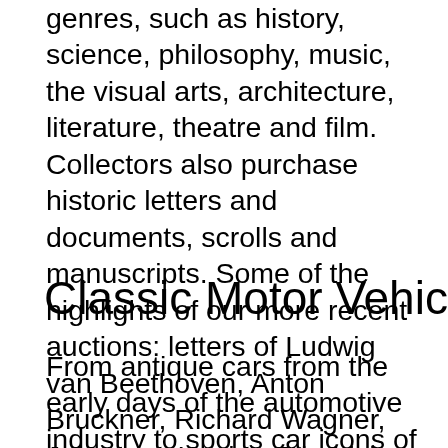genres, such as history, science, philosophy, music, the visual arts, architecture, literature, theatre and film. Collectors also purchase historic letters and documents, scrolls and manuscripts. Some of the highlights of our more recent auctions: letters of Ludwig van Beethoven, Anton Bruckner, Richard Wagner, Johannes Kepler, Friedrich von Schiller, Empress Elisabeth of Austria and Romy Schneider. With the sale of the Le Puy-en-Velay codex for 356,800 euros the autographs department achieved an especially remarkable success.
Classic Motor Vehicles
From antique cars from the early days of the automotive industry to sports car icons of the likes of Ferrari, Porsche, Maserati, Lamborghini, Jaguar, classics by BMW, Mercedes or Rolls-Royce, or